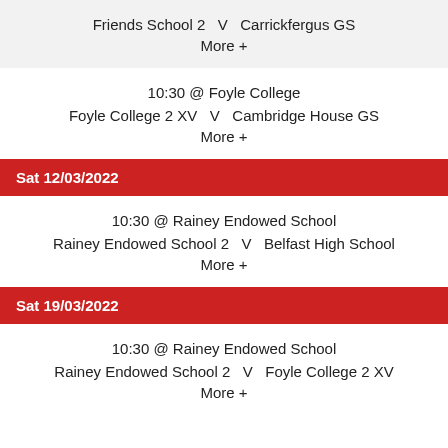Friends School 2  V  Carrickfergus GS
More +
10:30 @ Foyle College
Foyle College 2 XV  V  Cambridge House GS
More +
Sat 12/03/2022
10:30 @ Rainey Endowed School
Rainey Endowed School 2  V  Belfast High School
More +
Sat 19/03/2022
10:30 @ Rainey Endowed School
Rainey Endowed School 2  V  Foyle College 2 XV
More +